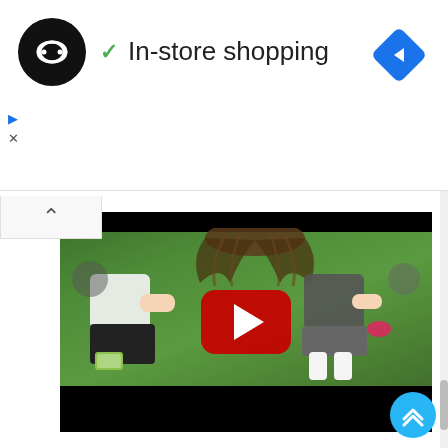[Figure (screenshot): Screenshot of a web browser showing a page titled 'In-store shopping' with a logo icon (infinity loop), a green checkmark, blue navigation diamond icon, small play and close icons on the left, a collapse chevron panel, and a YouTube video embed showing two people lying on grass with a red YouTube play button overlay.]